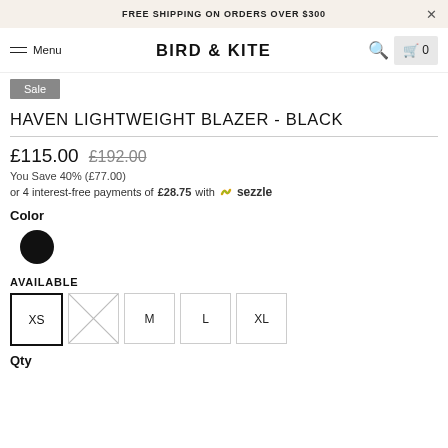FREE SHIPPING ON ORDERS OVER $300
BIRD & KITE  Menu  🔍  🛒 0
Sale
HAVEN LIGHTWEIGHT BLAZER - BLACK
£115.00  £192.00
You Save 40% (£77.00)
or 4 interest-free payments of £28.75 with sezzle
Color
[Figure (illustration): Black circular color swatch]
AVAILABLE
Size options: XS (selected), S (unavailable/crossed out), M, L, XL
Qty